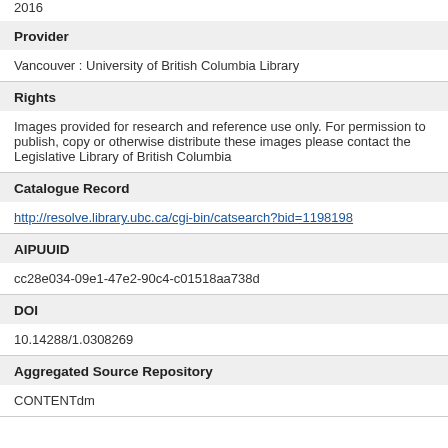2016
Provider
Vancouver : University of British Columbia Library
Rights
Images provided for research and reference use only. For permission to publish, copy or otherwise distribute these images please contact the Legislative Library of British Columbia
Catalogue Record
http://resolve.library.ubc.ca/cgi-bin/catsearch?bid=1198198
AIPUUID
cc28e034-09e1-47e2-90c4-c01518aa738d
DOI
10.14288/1.0308269
Aggregated Source Repository
CONTENTdm